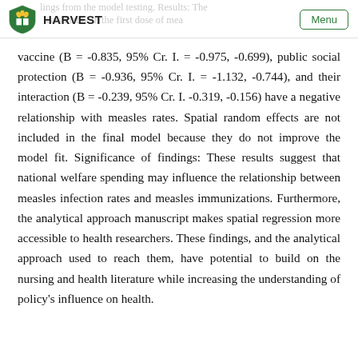HARVEST | Menu
vaccine (B = -0.835, 95% Cr. I. = -0.975, -0.699), public social protection (B = -0.936, 95% Cr. I. = -1.132, -0.744), and their interaction (B = -0.239, 95% Cr. I. -0.319, -0.156) have a negative relationship with measles rates. Spatial random effects are not included in the final model because they do not improve the model fit. Significance of findings: These results suggest that national welfare spending may influence the relationship between measles infection rates and measles immunizations. Furthermore, the analytical approach manuscript makes spatial regression more accessible to health researchers. These findings, and the analytical approach used to reach them, have potential to build on the nursing and health literature while increasing the understanding of policy's influence on health.